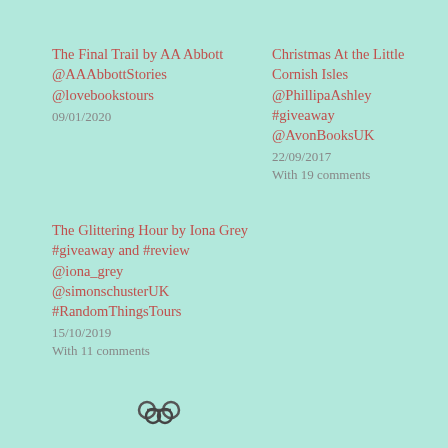The Final Trail by AA Abbott @AAAbbottStories @lovebookstours
09/01/2020
Christmas At the Little Cornish Isles @PhillipaAshley #giveaway @AvonBooksUK
22/09/2017
With 19 comments
The Glittering Hour by Iona Grey #giveaway and #review @iona_grey @simonschusterUK #RandomThingsTours
15/10/2019
With 11 comments
[Figure (other): Share/link icon (chain links symbol)]